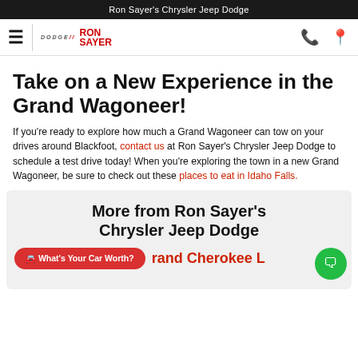Ron Sayer's Chrysler Jeep Dodge
[Figure (logo): Navigation bar with hamburger menu, Dodge and Ron Sayer logos, phone and location icons]
Take on a New Experience in the Grand Wagoneer!
If you're ready to explore how much a Grand Wagoneer can tow on your drives around Blackfoot, contact us at Ron Sayer's Chrysler Jeep Dodge to schedule a test drive today! When you're exploring the town in a new Grand Wagoneer, be sure to check out these places to eat in Idaho Falls.
More from Ron Sayer's Chrysler Jeep Dodge
What's Your Car Worth?
rand Cherokee L